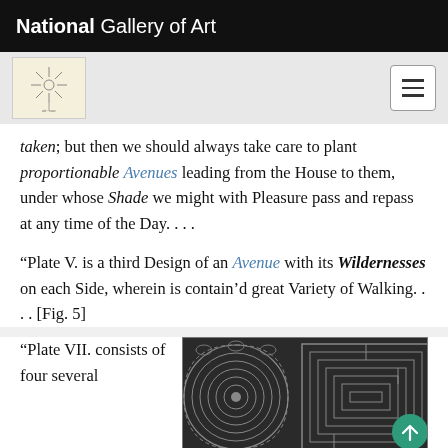National Gallery of Art
taken; but then we should always take care to plant proportionable Avenues leading from the House to them, under whose Shade we might with Pleasure pass and repass at any time of the Day. . . .
“Plate V. is a third Design of an Avenue with its Wildernesses on each Side, wherein is contain’d great Variety of Walking. . . . [Fig. 5]
“Plate VII. consists of four several
[Figure (illustration): Engraving showing a garden maze or wilderness design with circular spiral patterns on the left and rectangular labyrinth patterns on the right, in dark grey tones.]